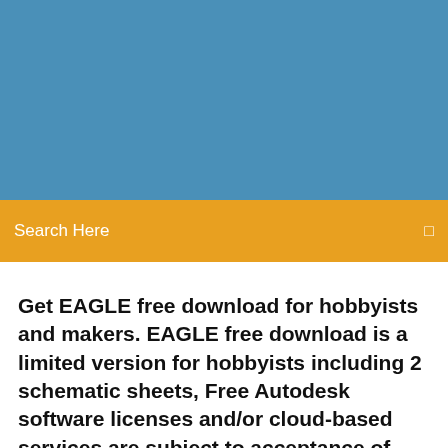[Figure (other): Blue banner/header background area at the top of the page]
Search Here
Get EAGLE free download for hobbyists and makers. EAGLE free download is a limited version for hobbyists including 2 schematic sheets, Free Autodesk software licenses and/or cloud-based services are subject to acceptance of and
🧑 15 Nov 2019 Download Crack Now. EAGLE 9.5.2 Crack Free Serial Key Plus Keygen Inside the free version, we can make